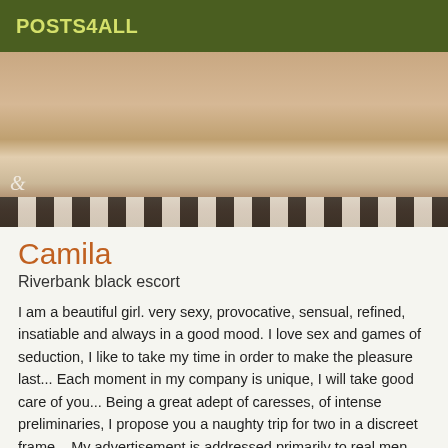POSTS4ALL
[Figure (photo): Two women lying on a bed, one wearing a teal bikini top, partial view, striped bedding visible at bottom]
Camila
Riverbank black escort
I am a beautiful girl. very sexy, provocative, sensual, refined, insatiable and always in a good mood. I love sex and games of seduction, I like to take my time in order to make the pleasure last... Each moment in my company is unique, I will take good care of you... Being a great adept of caresses, of intense preliminaries, I propose you a naughty trip for two in a discreet frame... My advertisement is addressed primarily to real men courteous, discreet and respectful with impeccable hygiene. I welcome you in heels and sexy little outfit. If I